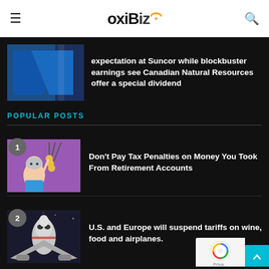OxiBiz
expectation at Suncor while blockbuster earnings see Canadian Natural Resources offer a special dividend
POPULAR POSTS
Don't Pay Tax Penalties on Money You Took From Retirement Accounts
U.S. and Europe will suspend tariffs on wine, food and airplanes.